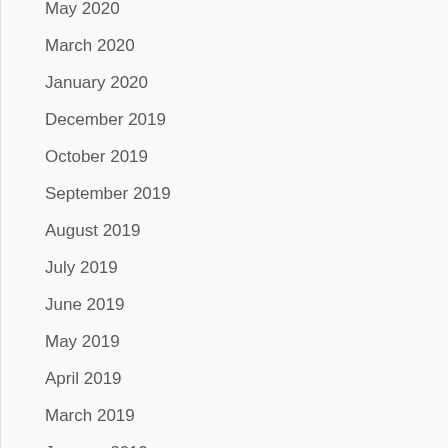May 2020
March 2020
January 2020
December 2019
October 2019
September 2019
August 2019
July 2019
June 2019
May 2019
April 2019
March 2019
January 2019
December 2018
November 2018